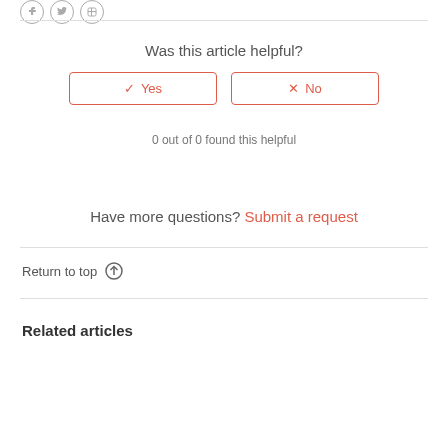Was this article helpful?
✓ Yes    ✕ No
0 out of 0 found this helpful
Have more questions? Submit a request
Return to top ↑
Related articles
How to Create an Activity
How to Add an Instructor